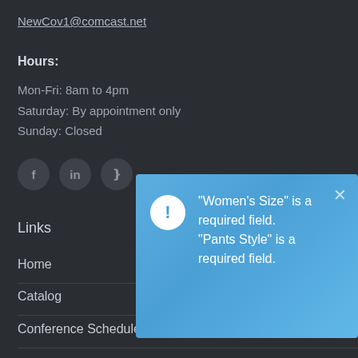NewCov1@comcast.net
Hours:
Mon-Fri: 8am to 4pm
Saturday: By appointment only
Sunday: Closed
[Figure (other): Social media icons: Facebook (f), LinkedIn (in), Pinterest (p) in circular dark buttons]
Links
Home
Catalog
Conference Schedule
About Us
Reviews
[Figure (screenshot): Alert popup overlay with blue gradient background, exclamation icon, and text: "Women's Size" is a required field. "Pants Style" is a required field. With a close (×) button.]